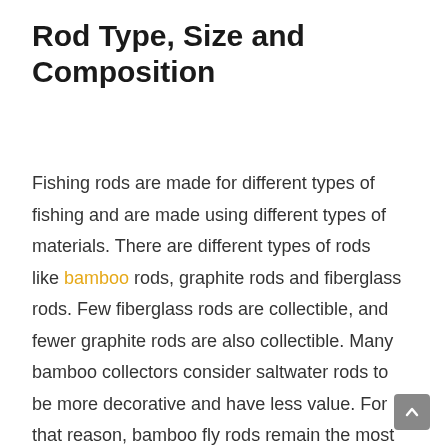Rod Type, Size and Composition
Fishing rods are made for different types of fishing and are made using different types of materials. There are different types of rods like bamboo rods, graphite rods and fiberglass rods. Few fiberglass rods are collectible, and fewer graphite rods are also collectible. Many bamboo collectors consider saltwater rods to be more decorative and have less value. For that reason, bamboo fly rods remain the most collectible category.